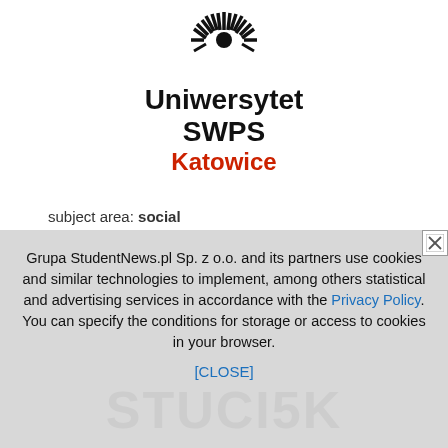[Figure (logo): Uniwersytet SWPS logo — black sunburst/rays icon above bold text 'Uniwersytet SWPS' with 'Katowice' in dark red]
subject area: social
more information »
University of Social Sciences and Humanities, Faculty in Katowice
Grupa StudentNews.pl Sp. z o.o. and its partners use cookies and similar technologies to implement, among others statistical and advertising services in accordance with the Privacy Policy. You can specify the conditions for storage or access to cookies in your browser. [CLOSE]